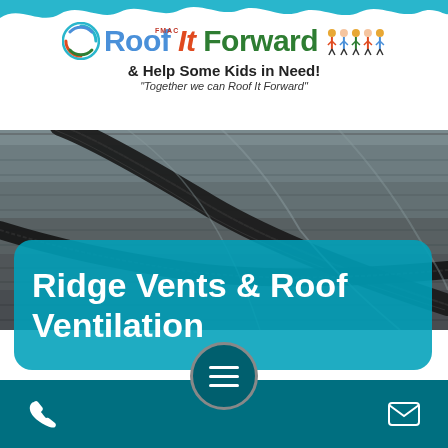[Figure (logo): Roof It Forward logo with circular icon, colorful text 'Roof It Forward', kids illustration, subtitle '& Help Some Kids in Need!' and tagline 'Together we can Roof It Forward']
[Figure (photo): Close-up photograph of dark gray asphalt roof shingles with a black ridge vent running diagonally across the center]
Ridge Vents & Roof Ventilation
[Figure (other): Navigation hamburger menu button in a circular teal/dark button at the bottom center of the page, with phone icon at bottom left and email icon at bottom right]